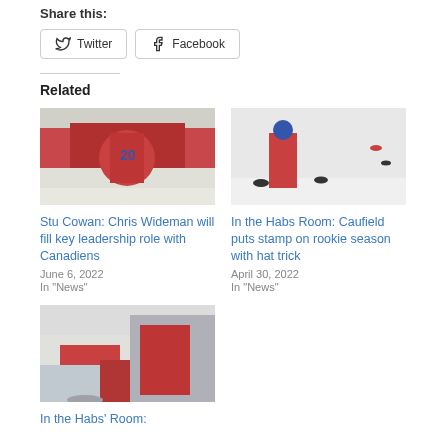Share this:
Twitter  Facebook
Related
[Figure (photo): Hockey player wearing red Canadiens jersey #20 skating on ice]
Stu Cowan: Chris Wideman will fill key leadership role with Canadiens
June 6, 2022
In "News"
[Figure (photo): Hockey player in red Canadiens jersey standing on ice with hats scattered around]
In the Habs Room: Caufield puts stamp on rookie season with hat trick
April 30, 2022
In "News"
[Figure (photo): Hockey players in red Canadiens jerseys on ice, goalie making save]
In the Habs' Room: